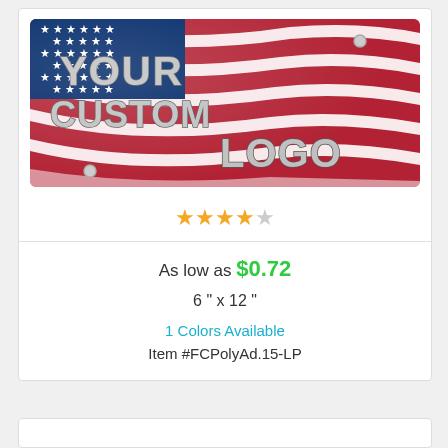[Figure (photo): A custom license plate product image showing an American flag background with chrome-style text reading YOUR CUSTOM LOGO, with two mounting holes visible.]
★★★★☆
As low as $0.72
6 " x 12 "
1 Colors Available
Item #FCPolyAd.15-LP